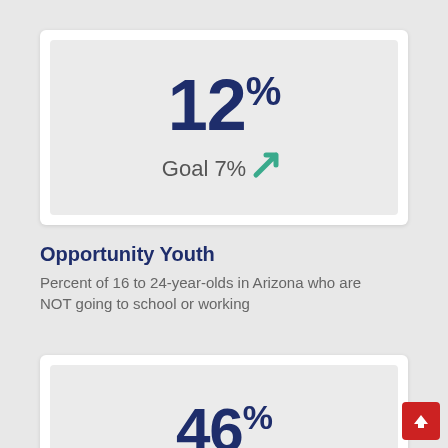12%
Goal 7% ↗
Opportunity Youth
Percent of 16 to 24-year-olds in Arizona who are NOT going to school or working
46%